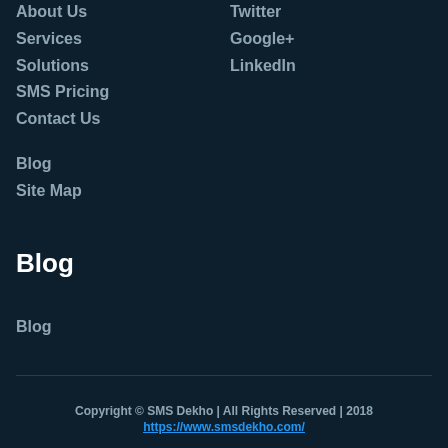About Us
Services
Solutions
SMS Pricing
Contact Us
Blog
Site Map
Twitter
Google+
LinkedIn
Blog
Blog
Copyright © SMS Dekho | All Rights Reserved | 2018
https://www.smsdekho.com/